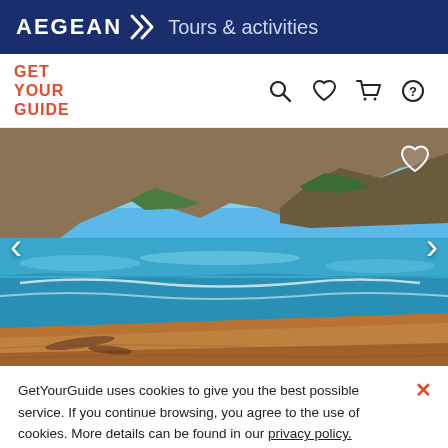AEGEAN Tours & activities
[Figure (logo): GetYourGuide logo in red text with navigation icons (search, heart, cart, help)]
[Figure (photo): Beach scene with red sandy shore, turquoise sea, and rocky cliffs under blue sky with left/right navigation arrows and heart icon overlay]
GetYourGuide uses cookies to give you the best possible service. If you continue browsing, you agree to the use of cookies. More details can be found in our privacy policy.